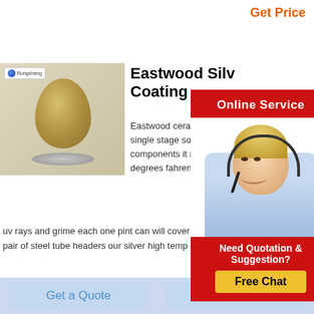Get Price
[Figure (photo): Product image of ceramic coating material in egg shape on pedestal, with Rongsheng logo]
Eastwood Silver High Temp Ceramic Coating
Eastwood ceramic high temp paint is a single stage solution that has two components it resists degrees fahrenheit uv rays and grime each one pint can will cover four sto pair of steel tube headers our silver high temp ceramic
[Figure (screenshot): Online Service popup with customer support agent wearing headset, red header, and Free Chat button]
[Figure (photo): Industrial steel pipes or cylinders arranged in rows]
Amazon High Temp Paint
Motip m04031 heat resistant spray paint 400ml black 400 ml 4 3 out of 5 stars 517 £12 45 £12 45 this grill paint is available in a 4 2 ounce bucket or a 100 milliliter bottle it can be used on a variety of surfaces and is ideal for
Get a Quote
Chat Now